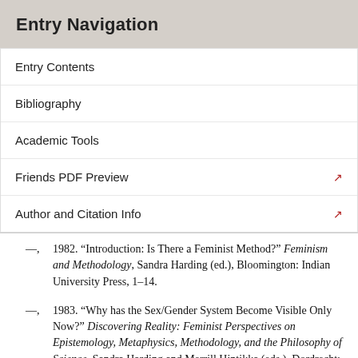Entry Navigation
Entry Contents
Bibliography
Academic Tools
Friends PDF Preview
Author and Citation Info
—, 1982. “Introduction: Is There a Feminist Method?” Feminism and Methodology, Sandra Harding (ed.), Bloomington: Indian University Press, 1–14.
—, 1983. “Why has the Sex/Gender System Become Visible Only Now?” Discovering Reality: Feminist Perspectives on Epistemology, Metaphysics, Methodology, and the Philosophy of Science, Sandra Harding and Merrill Hintikka (eds.), Dordrecht: D. Reidel, 311–324.
—, 1986. The Science Question in Feminism, Ithaca: Cornell University Press.